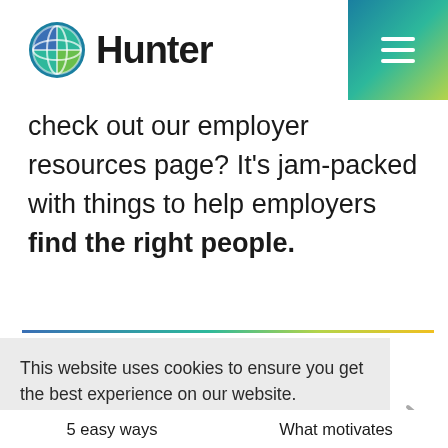Hunter
check out our employer resources page? It's jam-packed with things to help employers find the right people.
This website uses cookies to ensure you get the best experience on our website. Privacy Policy
I accept
5 easy ways
What motivates